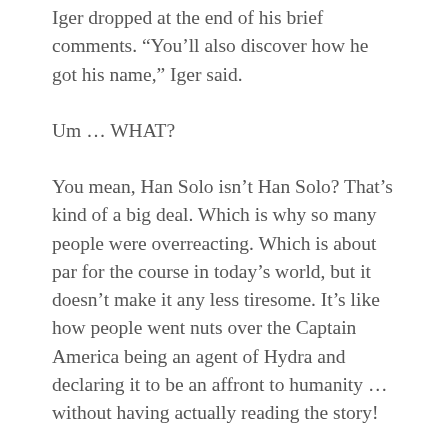Iger dropped at the end of his brief comments. “You’ll also discover how he got his name,” Iger said.
Um … WHAT?
You mean, Han Solo isn’t Han Solo? That’s kind of a big deal. Which is why so many people were overreacting. Which is about par for the course in today’s world, but it doesn’t make it any less tiresome. It’s like how people went nuts over the Captain America being an agent of Hydra and declaring it to be an affront to humanity … without having actually reading the story!